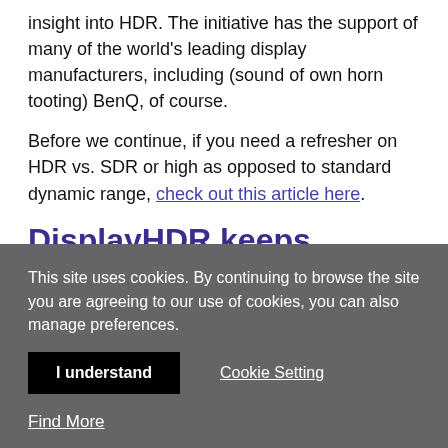insight into HDR. The initiative has the support of many of the world's leading display manufacturers, including (sound of own horn tooting) BenQ, of course.
Before we continue, if you need a refresher on HDR vs. SDR or high as opposed to standard dynamic range, check out this article here.
DisplayHDR keeps various HDR standards honest
This site uses cookies. By continuing to browse the site you are agreeing to our use of cookies, you can also manage preferences.
I understand
Cookie Setting
Find More